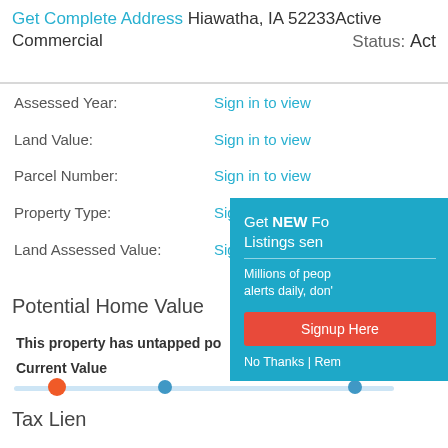Get Complete Address Hiawatha, IA 52233 Active Commercial Status: Act
Assessed Year: Sign in to view
Land Value: Sign in to view
Parcel Number: Sign in to view
Property Type: Sign in to view
Land Assessed Value: Sign in to view
Potential Home Value
This property has untapped po...
Current Value
Tax Lien
Get NEW Fo... Listings sen... Millions of peop... alerts daily, don'... Signup Here No Thanks | Rem...